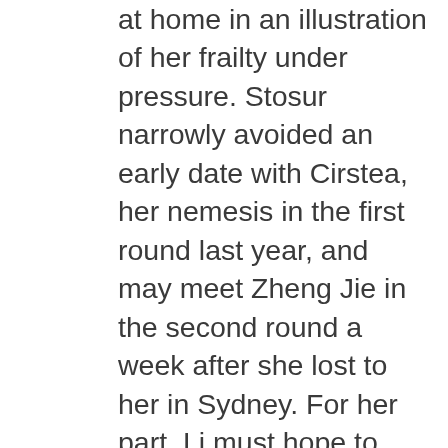at home in an illustration of her frailty under pressure.  Stosur narrowly avoided an early date with Cirstea, her nemesis in the first round last year, and may meet Zheng Jie in the second round a week after she lost to her in Sydney.  For her part, Li must hope to reverse her loss to Cirstea at Wimbledon last year if that third-round meeting materializes.  Nearer to Radwanska lies another opponent of the same model as fellow one-time major champions Li and Stosur:  the charming and charmingly fragile Ivanovic.  Five years after her trip to the Melbourne final, she has not reached the quarterfinals there since.  The former #1 might face the other former #1 from her own country in the third round, resuming her sometimes bitter rivalry with Jankovic.  Although both Serbs accumulated success